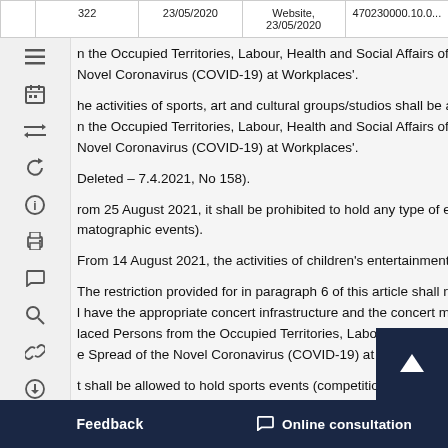|  | 322 | 23/05/2020 | Website, 23/05/2020 | 470230000.10.0... |
| --- | --- | --- | --- | --- |
|  |
n the Occupied Territories, Labour, Health and Social Affairs of Geo Novel Coronavirus (COVID-19) at Workplaces'.
he activities of sports, art and cultural groups/studios shall be allow n the Occupied Territories, Labour, Health and Social Affairs of Geo Novel Coronavirus (COVID-19) at Workplaces'.
Deleted – 7.4.2021, No 158).
rom 25 August 2021, it shall be prohibited to hold any type of enter matographic events).
From 14 August 2021, the activities of children's entertainment cen
The restriction provided for in paragraph 6 of this article shall not a l have the appropriate concert infrastructure and the concert must laced Persons from the Occupied Territories, Labour, Health and S e Spread of the Novel Coronavirus (COVID-19) at W es'.
t shall be allowed to hold sports events (competitions, assemblies) ents 14 days after full vac in VID-19), or based on a negative PCR test result conducted 72 ho